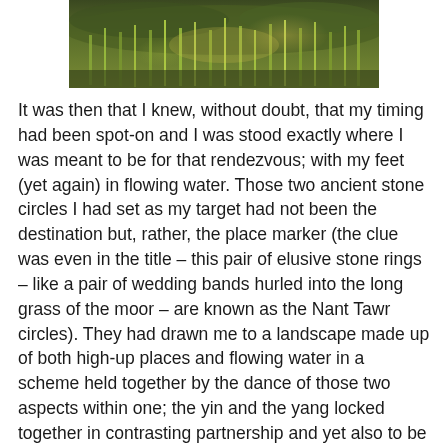[Figure (photo): Photograph of moorland vegetation — tall grasses and wild plants with warm sunlight, green and golden tones.]
It was then that I knew, without doubt, that my timing had been spot-on and I was stood exactly where I was meant to be for that rendezvous; with my feet (yet again) in flowing water. Those two ancient stone circles I had set as my target had not been the destination but, rather, the place marker (the clue was even in the title – this pair of elusive stone rings – like a pair of wedding bands hurled into the long grass of the moor – are known as the Nant Tawr circles). They had drawn me to a landscape made up of both high-up places and flowing water in a scheme held together by the dance of those two aspects within one; the yin and the yang locked together in contrasting partnership and yet also to be found within and around one another; both strengthening and cradling, supporting and allowing